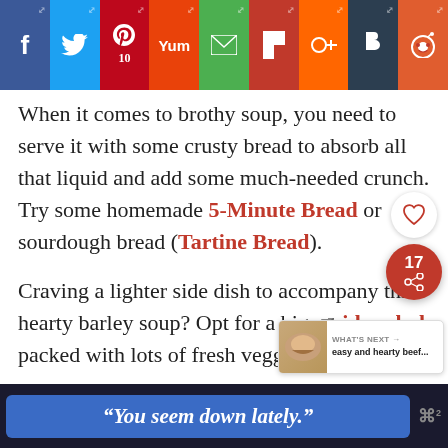[Figure (screenshot): Social sharing bar with buttons for Facebook, Twitter, Pinterest (10), Yummly, Email, Flipboard, Mix, Blogger, Reddit]
When it comes to brothy soup, you need to serve it with some crusty bread to absorb all that liquid and add some much-needed crunch. Try some homemade 5-Minute Bread or sourdough bread (Tartine Bread).
Craving a lighter side dish to accompany this hearty barley soup? Opt for a big side salad packed with lots of fresh veggies.
And you can always take this soup up a notch by
[Figure (infographic): Floating social action buttons: heart/like button and share button with count 17]
[Figure (infographic): What's Next banner showing easy and hearty beef...]
[Figure (screenshot): Ad banner at bottom: "You seem down lately." in italic white text on blue background with logo]